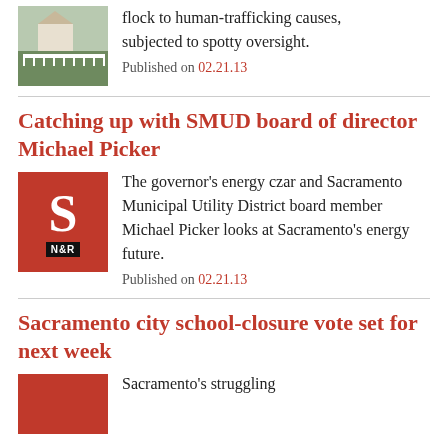flock to human-trafficking causes, subjected to spotty oversight.
Published on 02.21.13
Catching up with SMUD board of director Michael Picker
The governor's energy czar and Sacramento Municipal Utility District board member Michael Picker looks at Sacramento's energy future.
Published on 02.21.13
Sacramento city school-closure vote set for next week
Sacramento's struggling